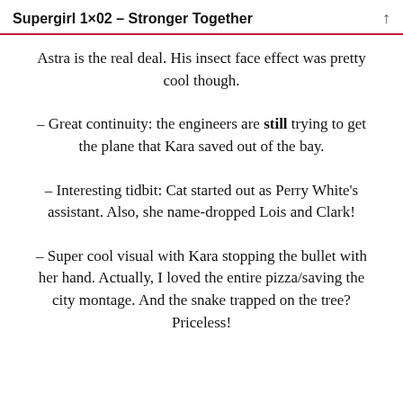Supergirl 1×02 – Stronger Together
Astra is the real deal. His insect face effect was pretty cool though.
– Great continuity: the engineers are still trying to get the plane that Kara saved out of the bay.
– Interesting tidbit: Cat started out as Perry White's assistant. Also, she name-dropped Lois and Clark!
– Super cool visual with Kara stopping the bullet with her hand. Actually, I loved the entire pizza/saving the city montage. And the snake trapped on the tree? Priceless!